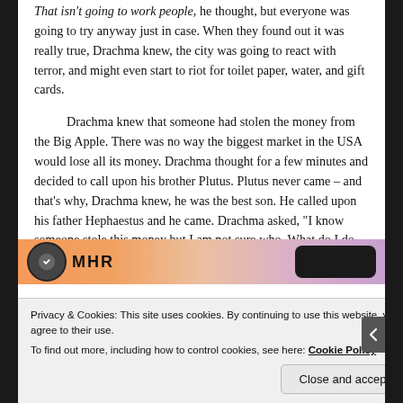That isn't going to work people, he thought, but everyone was going to try anyway just in case. When they found out it was really true, Drachma knew, the city was going to react with terror, and might even start to riot for toilet paper, water, and gift cards.
Drachma knew that someone had stolen the money from the Big Apple. There was no way the biggest market in the USA would lose all its money. Drachma thought for a few minutes and decided to call upon his brother Plutus. Plutus never came – and that's why, Drachma knew, he was the best son. He called upon his father Hephaestus and he came. Drachma asked, "I know someone stole this money but I am not sure who. What do I do father?"
[Figure (illustration): Partial view of a colorful banner image with an orange/salmon gradient background, a dark circular icon on the left, large bold text in the middle, and a dark rounded button shape on the right]
Privacy & Cookies: This site uses cookies. By continuing to use this website, you agree to their use. To find out more, including how to control cookies, see here: Cookie Policy
Close and accept